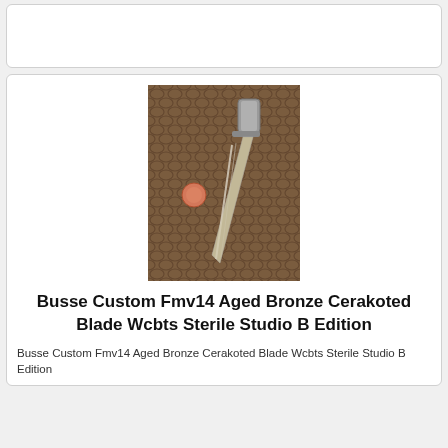[Figure (photo): A card/panel area at the top, mostly white/empty with a border.]
[Figure (photo): Photo of a Busse Custom Fmv14 knife with aged bronze cerakoted blade on a brown crocodile-texture background, with a small coin or object beside it.]
Busse Custom Fmv14 Aged Bronze Cerakoted Blade Wcbts Sterile Studio B Edition
Busse Custom Fmv14 Aged Bronze Cerakoted Blade Wcbts Sterile Studio B Edition